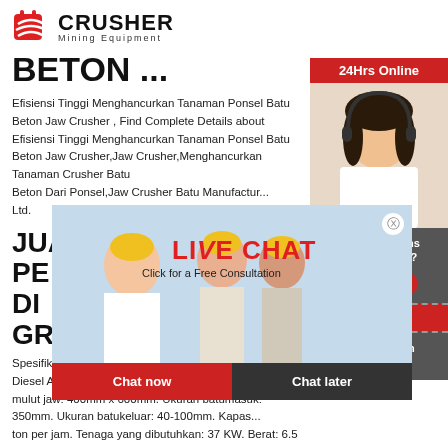[Figure (logo): Crusher Mining Equipment logo with red shopping bag icon and bold CRUSHER text]
BETON ...
Efisiensi Tinggi Menghancurkan Tanaman Ponsel Batu Beton Jaw Crusher , Find Complete Details about Efisiensi Tinggi Menghancurkan Tanaman Ponsel Batu Beton Jaw Crusher,Jaw Crusher,Menghancurkan Tanaman Crusher Batu Beton Dari Ponsel,Jaw Crusher Batu Manufactur... Ltd.
[Figure (screenshot): Live chat popup overlay with construction workers photo, LIVE CHAT heading, Click for a Free Consultation text, Chat now and Chat later buttons]
JUAL PE 400X600 | AKOR DI GROUP
Spesifikasi Jaw Crusher DAIHO PE 400X600. C... Diesel Agen JAW Crusher DAIHO PE 400X600. mulut jaw: 400mm x 600mm. Ukuran batumasuk: 350mm. Ukuran batukeluar: 40-100mm. Kapas... ton per jam. Tenaga yang dibutuhkan: 37 KW. Berat: 6.5 ton.
[Figure (screenshot): Right side chat widget with 24Hrs Online red bar, female agent photo, Need questions & suggestion panel, Chat Now button, Enquiry section, limingjlmofen@sina.com contact]